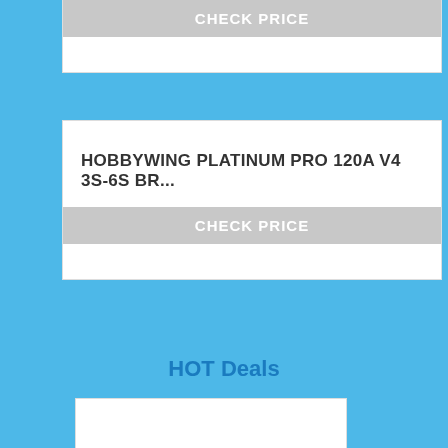CHECK PRICE
HOBBYWING PLATINUM PRO 120A V4 3S-6S BR...
CHECK PRICE
HOT Deals
[Figure (other): Product image placeholder - white rectangle]